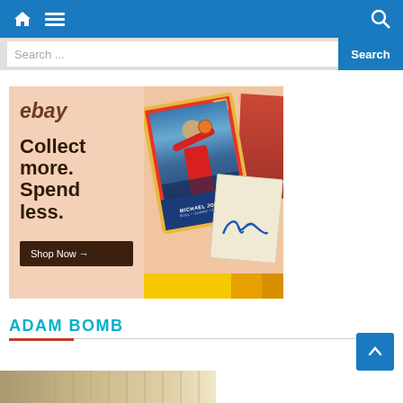Navigation bar with home icon, menu icon, and search icon
Search ...
Search
[Figure (illustration): eBay advertisement banner with peach/salmon background. Left side shows 'ebay' logo and text 'Collect more. Spend less.' with a dark brown 'Shop Now →' button. Right side shows a Michael Jordan Fleer basketball card and an autograph card with orange/peach background and yellow stripe at bottom.]
ADAM BOMB
[Figure (photo): Partial image of trading cards visible at bottom of page]